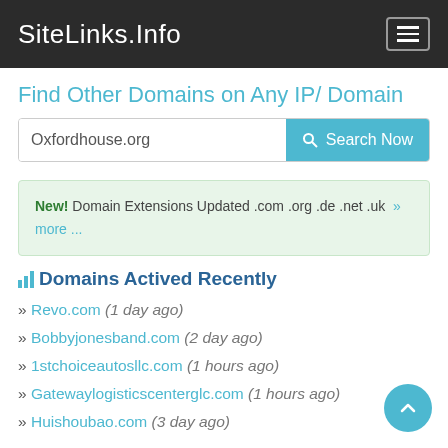SiteLinks.Info
Find Other Domains on Any IP/ Domain
Oxfordhouse.org [Search Now]
New! Domain Extensions Updated .com .org .de .net .uk » more ...
Domains Actived Recently
» Revo.com (1 day ago)
» Bobbyjonesband.com (2 day ago)
» 1stchoiceautosllc.com (1 hours ago)
» Gatewaylogisticscenterglc.com (1 hours ago)
» Huishoubao.com (3 day ago)